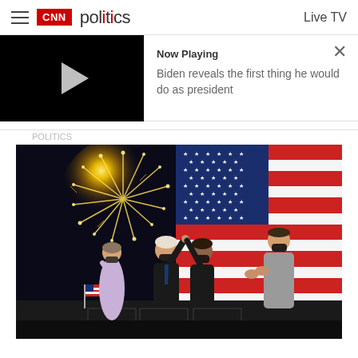CNN politics  Live TV
[Figure (screenshot): CNN Politics mobile website screenshot showing a video player bar with 'Now Playing: Biden reveals the first thing he would do as president' and a photo of Biden, Harris, Jill Biden, and Doug Emhoff on stage with fireworks and American flag backdrop after winning the 2020 election]
Now Playing
Biden reveals the first thing he would do as president
[Figure (photo): Four people on a stage at night — Jill Biden in lavender dress, Joe Biden in black suit with mask (arm raised), Kamala Harris in black outfit with mask, and Doug Emhoff in grey suit — with golden fireworks exploding and a large American flag backdrop]